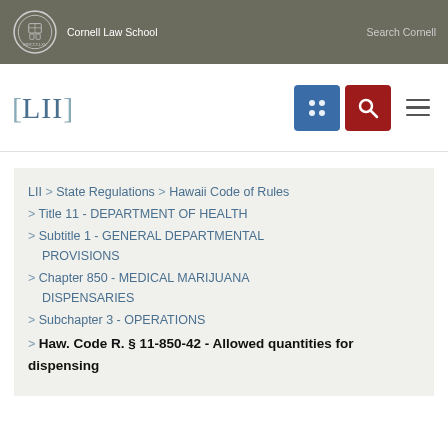Cornell Law School | Search Cornell
[Figure (logo): LII Legal Information Institute logo with navigation icons]
LII > State Regulations > Hawaii Code of Rules > Title 11 - DEPARTMENT OF HEALTH > Subtitle 1 - GENERAL DEPARTMENTAL PROVISIONS > Chapter 850 - MEDICAL MARIJUANA DISPENSARIES > Subchapter 3 - OPERATIONS > Haw. Code R. § 11-850-42 - Allowed quantities for dispensing